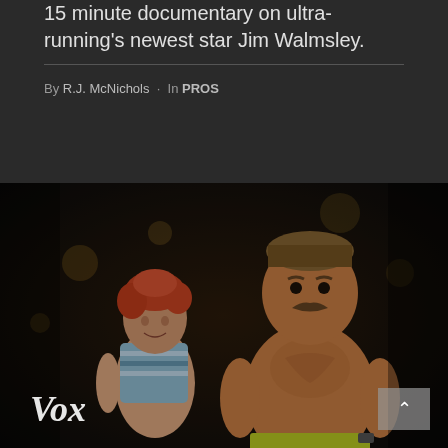15 minute documentary on ultra-running's newest star Jim Walmsley.
By R.J. McNichols · In PROS
[Figure (photo): Two runners in motion at night — a woman in a striped tank top with red curly hair on the left, and a shirtless muscular man with a mustache wearing yellow-green shorts on the right. Vox logo visible in bottom-left corner. A scroll-up button visible in bottom-right corner.]